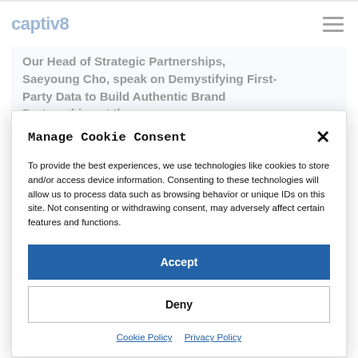captiv8
Our Head of Strategic Partnerships, Saeyoung Cho, speak on Demystifying First-Party Data to Build Authentic Brand Partnerships at the...
Manage Cookie Consent
To provide the best experiences, we use technologies like cookies to store and/or access device information. Consenting to these technologies will allow us to process data such as browsing behavior or unique IDs on this site. Not consenting or withdrawing consent, may adversely affect certain features and functions.
Accept
Deny
Cookie Policy   Privacy Policy